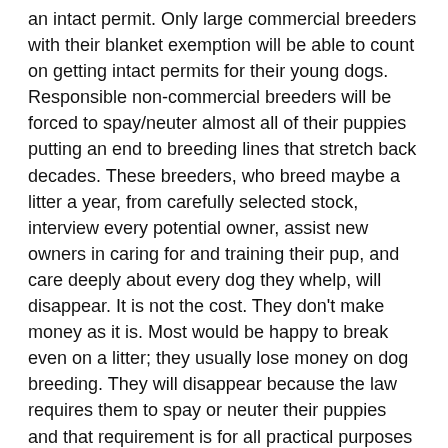an intact permit. Only large commercial breeders with their blanket exemption will be able to count on getting intact permits for their young dogs. Responsible non-commercial breeders will be forced to spay/neuter almost all of their puppies putting an end to breeding lines that stretch back decades. These breeders, who breed maybe a litter a year, from carefully selected stock, interview every potential owner, assist new owners in caring for and training their pup, and care deeply about every dog they whelp, will disappear. It is not the cost. They don't make money as it is. Most would be happy to break even on a litter; they usually lose money on dog breeding. They will disappear because the law requires them to spay or neuter their puppies and that requirement is for all practical purposes unavoidable.
The really crazy parts are the blanket exemptions for the most irresponsible breeders, the backyard breeders and the puppy-mills. The new backyard breeder exemption will let anybody keep two dogs intact long enough to have one litter, "so the kids can see the miracle of birth" or "becasue it is better to have a litter before spaying a female". If the supporters really want to